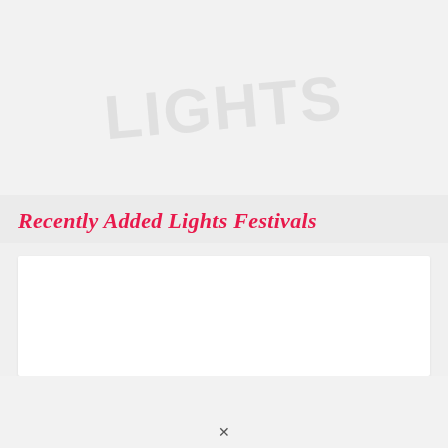Recently Added Lights Festivals